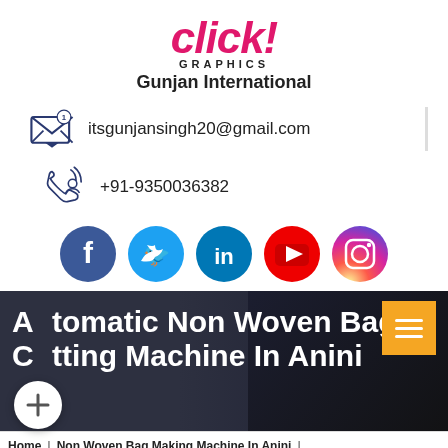[Figure (logo): Click! Graphics Gunjan International logo with pink italic text and black subtitle]
itsgunjansingh20@gmail.com
+91-9350036382
[Figure (infographic): Social media icons row: Facebook, Twitter, LinkedIn, YouTube, Instagram]
Automatic Non Woven Bag Cutting Machine In Anini
Home | Non Woven Bag Making Machine In Anini |